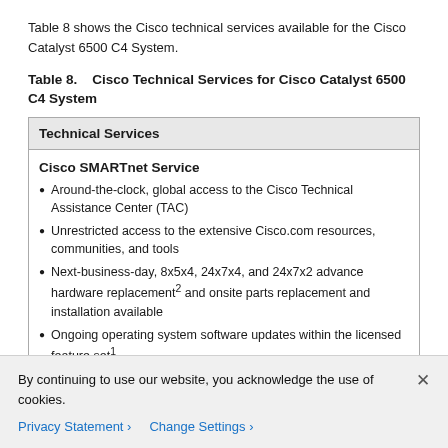Table 8 shows the Cisco technical services available for the Cisco Catalyst 6500 C4 System.
Table 8.   Cisco Technical Services for Cisco Catalyst 6500 C4 System
| Technical Services |
| --- |
| Cisco SMARTnet Service
• Around-the-clock, global access to the Cisco Technical Assistance Center (TAC)
• Unrestricted access to the extensive Cisco.com resources, communities, and tools
• Next-business-day, 8x5x4, 24x7x4, and 24x7x2 advance hardware replacement² and onsite parts replacement and installation available
• Ongoing operating system software updates within the licensed feature set¹
• Proactive diagnostics and real-time alerts on Smart... |
By continuing to use our website, you acknowledge the use of cookies.
Privacy Statement > Change Settings >